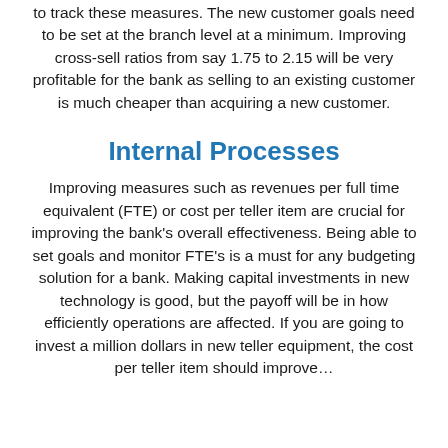to track these measures. The new customer goals need to be set at the branch level at a minimum. Improving cross-sell ratios from say 1.75 to 2.15 will be very profitable for the bank as selling to an existing customer is much cheaper than acquiring a new customer.
Internal Processes
Improving measures such as revenues per full time equivalent (FTE) or cost per teller item are crucial for improving the bank's overall effectiveness. Being able to set goals and monitor FTE's is a must for any budgeting solution for a bank. Making capital investments in new technology is good, but the payoff will be in how efficiently operations are affected. If you are going to invest a million dollars in new teller equipment, the cost per teller item should improve...